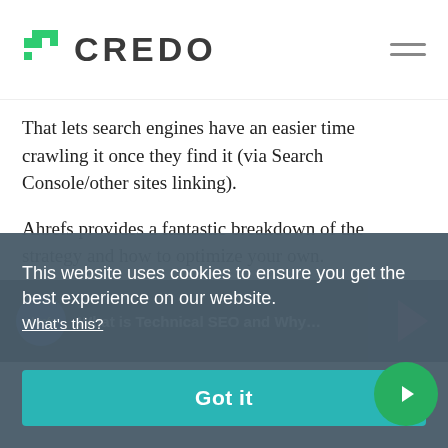CREDO
That lets search engines have an easier time crawling it once they find it (via Search Console/other sites linking).
Ahrefs provides a fantastic breakdown of the strategy and how to optimize your own.
[Figure (screenshot): Ahrefs video thumbnail showing 'What is Technical SEO and Why...' with ahrefs logo circle on dark background]
This website uses cookies to ensure you get the best experience on our website. What's this?
Got it